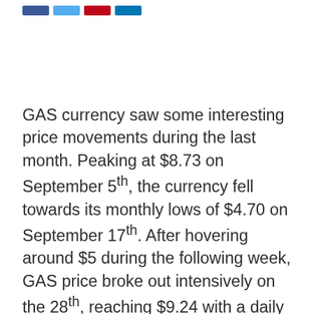[Social share icons: Facebook, Twitter, Pinterest, LinkedIn]
GAS currency saw some interesting price movements during the last month. Peaking at $8.73 on September 5th, the currency fell towards its monthly lows of $4.70 on September 17th. After hovering around $5 during the following week, GAS price broke out intensively on the 28th, reaching $9.24 with a daily trade volume of $13 million. The mentioned volume rose even stronger throughout the day, reaching $23 million, before both the price and the volume dropped off to below $6/$2 million in a